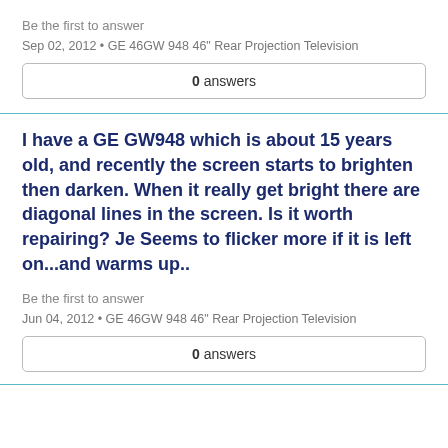Be the first to answer
Sep 02, 2012 • GE 46GW 948 46" Rear Projection Television
0 answers
I have a GE GW948 which is about 15 years old, and recently the screen starts to brighten then darken. When it really get bright there are diagonal lines in the screen. Is it worth repairing? Je Seems to flicker more if it is left on...and warms up..
Be the first to answer
Jun 04, 2012 • GE 46GW 948 46" Rear Projection Television
0 answers